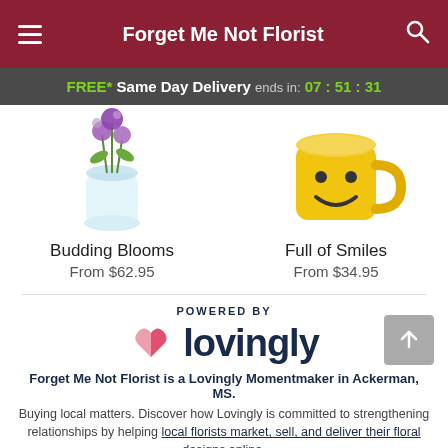Forget Me Not Florist
FREE* Same Day Delivery ends in: 07:51:31
[Figure (photo): Photo of Budding Blooms flower arrangement in glass vase with purple flowers]
Budding Blooms
From $62.95
[Figure (photo): Photo of Full of Smiles arrangement in yellow smiley face mug]
Full of Smiles
From $34.95
[Figure (logo): POWERED BY lovingly logo with pink/red heart icon]
Forget Me Not Florist is a Lovingly Momentmaker in Ackerman, MS.
Buying local matters. Discover how Lovingly is committed to strengthening relationships by helping local florists market, sell, and deliver their floral designs online.